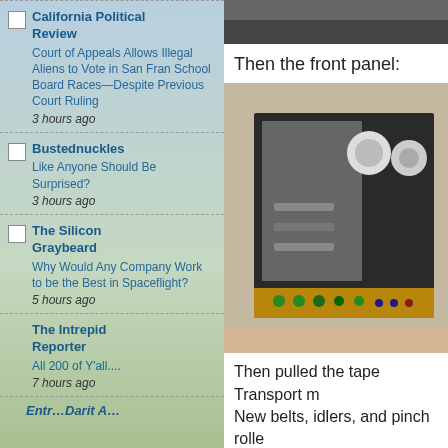California Political Review
Court of Appeals Allows Illegal Aliens to Vote in San Fran School Board Races—Despite Previous Court Ruling
3 hours ago
Bustednuckles
Like Anyone Should Be Surprised?
3 hours ago
The Silicon Graybeard
Why Would Any Company Work to be the Best in Spaceflight?
5 hours ago
The Intrepid Reporter
All 200 of Y'all....
7 hours ago
[Figure (photo): Partial view of a dark flat surface, likely a machine component — cropped at top of right column]
Then the front panel:
[Figure (photo): Photo of the front panel of a tape transport machine with various mechanical components, belts, rollers, and circuit boards visible]
Then pulled the tape Transport m New belts, idlers, and pinch rolle